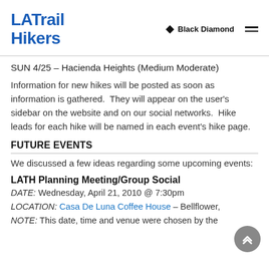LA Trail Hikers | Black Diamond
SUN 4/25 – Hacienda Heights (Medium Moderate)
Information for new hikes will be posted as soon as information is gathered.  They will appear on the user's sidebar on the website and on our social networks.  Hike leads for each hike will be named in each event's hike page.
FUTURE EVENTS
We discussed a few ideas regarding some upcoming events:
LATH Planning Meeting/Group Social
DATE: Wednesday, April 21, 2010 @ 7:30pm
LOCATION: Casa De La Luna Coffee House – Bellflower,
NOTE: This date, time and venue were chosen by the